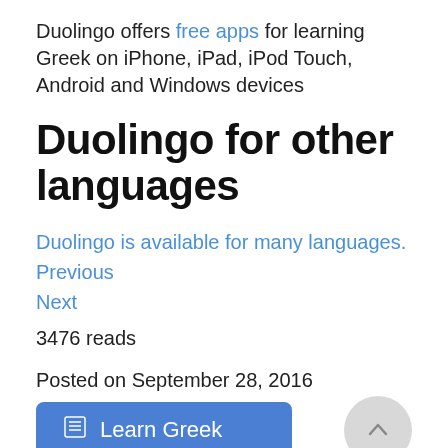Duolingo offers free apps for learning Greek on iPhone, iPad, iPod Touch, Android and Windows devices
Duolingo for other languages
Duolingo is available for many languages.
Previous
Next
3476 reads
Posted on September 28, 2016
[Figure (other): Blue 'Learn Greek' button with table/list icon, and a circular grey scroll-to-top button with an upward chevron arrow]
Share